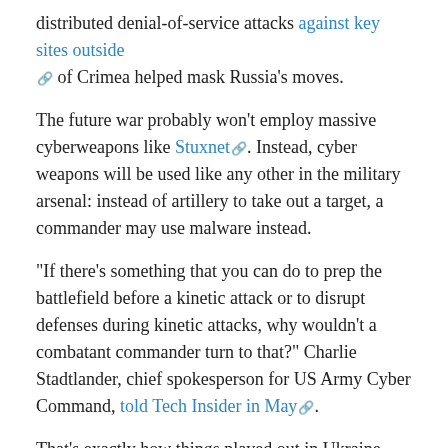distributed denial-of-service attacks against key sites outside of Crimea helped mask Russia's moves.
The future war probably won't employ massive cyberweapons like Stuxnet. Instead, cyber weapons will be used like any other in the military arsenal: instead of artillery to take out a target, a commander may use malware instead.
"If there's something that you can do to prep the battlefield before a kinetic attack or to disrupt defenses during kinetic attacks, why wouldn't a combatant commander turn to that?" Charlie Stadtlander, chief spokesperson for US Army Cyber Command, told Tech Insider in May.
That's exactly how things played out in Ukraine, Singer told us.
"Everything from government websites to banks to individual military units in the field all had the equivalent of a digital blockade thrown up around them. Some of it was through cyber means. Some of it was through electronic warfare means — jamming — but basically communication isn't flowing back and forth," Singer said of